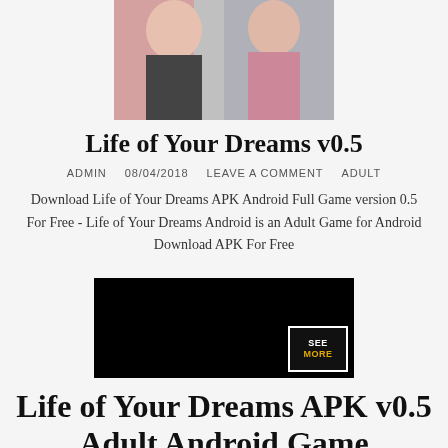[Figure (photo): Partial top image showing two women, one with red hair wearing dark clothing, other in pink and black checkered top]
Life of Your Dreams v0.5
ADMIN   08/04/2018   LEAVE A COMMENT   ADULT
Download Life of Your Dreams APK Android Full Game version 0.5 For Free - Life of Your Dreams Android is an Adult Game for Android Download APK For Free
[Figure (screenshot): Black image with SEE MORE badge in bottom right corner]
Life of Your Dreams APK v0.5 Adult Android Game